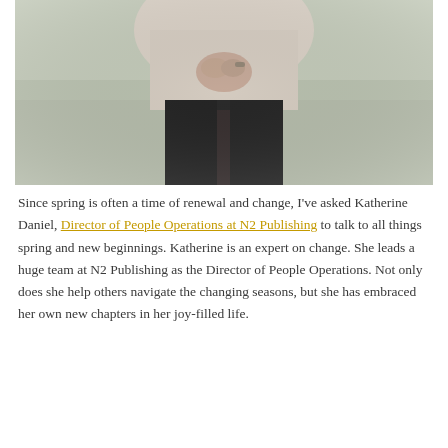[Figure (photo): Close-up photo of a person wearing a light beige top and black pants, hands clasped together in front, standing on grass. Only the torso and hands are visible.]
Since spring is often a time of renewal and change, I've asked Katherine Daniel, Director of People Operations at N2 Publishing to talk to all things spring and new beginnings. Katherine is an expert on change. She leads a huge team at N2 Publishing as the Director of People Operations. Not only does she help others navigate the changing seasons, but she has embraced her own new chapters in her joy-filled life.